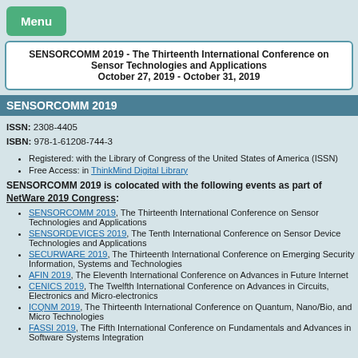[Figure (other): Green Menu button]
SENSORCOMM 2019 - The Thirteenth International Conference on Sensor Technologies and Applications
October 27, 2019 - October 31, 2019
SENSORCOMM 2019
ISSN: 2308-4405
ISBN: 978-1-61208-744-3
Registered: with the Library of Congress of the United States of America (ISSN)
Free Access: in ThinkMind Digital Library
SENSORCOMM 2019 is colocated with the following events as part of NetWare 2019 Congress:
SENSORCOMM 2019, The Thirteenth International Conference on Sensor Technologies and Applications
SENSORDEVICES 2019, The Tenth International Conference on Sensor Device Technologies and Applications
SECURWARE 2019, The Thirteenth International Conference on Emerging Security Information, Systems and Technologies
AFIN 2019, The Eleventh International Conference on Advances in Future Internet
CENICS 2019, The Twelfth International Conference on Advances in Circuits, Electronics and Micro-electronics
ICQNM 2019, The Thirteenth International Conference on Quantum, Nano/Bio, and Micro Technologies
FASSI 2019, The Fifth International Conference on Fundamentals and Advances in Software Systems Integration